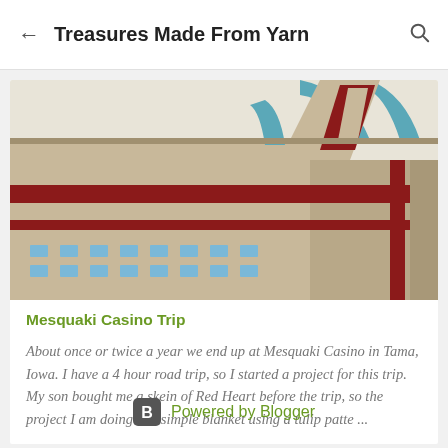← Treasures Made From Yarn 🔍
[Figure (photo): Photo of Mesquaki Casino building exterior showing brick facade with decorative geometric architectural elements in teal/blue and red colors]
Mesquaki Casino Trip
About once or twice a year we end up at Mesquaki Casino in Tama, Iowa. I have a 4 hour road trip, so I started a project for this trip. My son bought me a skein of Red Heart before the trip, so the project I am doing is a simple blanket using a tulip patte ...
Powered by Blogger